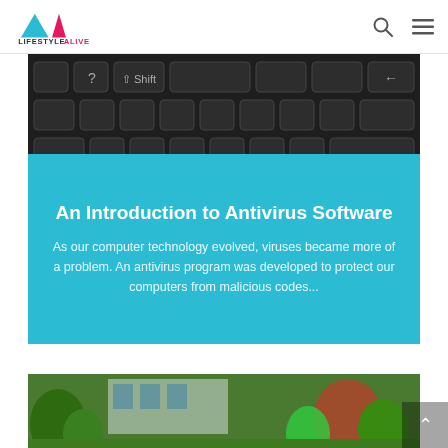LIFESTYLEALIVE
[Figure (photo): Close-up of dark computer keyboard keys, showing Shift key and question mark key]
An Introduction to Antivirus Software
As our computer technology evolved, viruses became more of a problem. An antivirus program was developed to protect our computers from malicious codes...
[Figure (photo): Outdoor garden / landscaping photo with tropical plants and a building in the background]